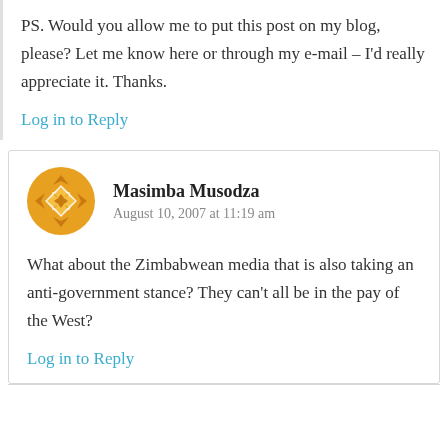PS. Would you allow me to put this post on my blog, please? Let me know here or through my e-mail – I’d really appreciate it. Thanks.
Log in to Reply
Masimba Musodza
August 10, 2007 at 11:19 am
What about the Zimbabwean media that is also taking an anti-government stance? They can’t all be in the pay of the West?
Log in to Reply